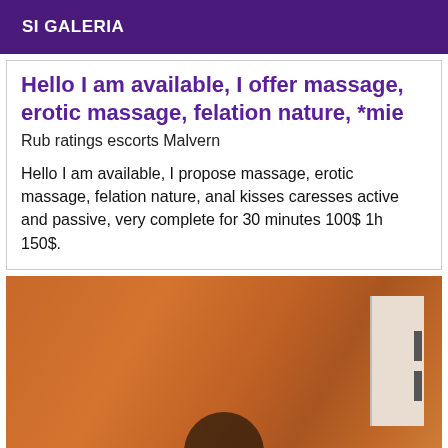SI GALERIA
Hello I am available, I offer massage, erotic massage, felation nature, *mie
Rub ratings escorts Malvern
Hello I am available, I propose massage, erotic massage, felation nature, anal kisses caresses active and passive, very complete for 30 minutes 100$ 1h 150$.
[Figure (photo): Partial photo of a person in a room with a door visible in the background, warm orange/brown tones]